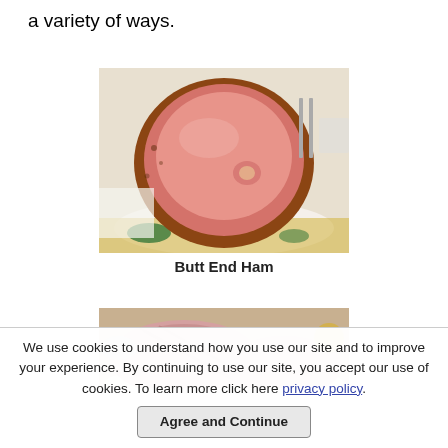a variety of ways.
[Figure (photo): A butt end ham, cross-section view showing pink meat with bone, displayed on a white plate with garnish]
Butt End Ham
[Figure (photo): Partial view of a ham on a plate, showing pink sliced meat]
We use cookies to understand how you use our site and to improve your experience. By continuing to use our site, you accept our use of cookies. To learn more click here privacy policy. Agree and Continue